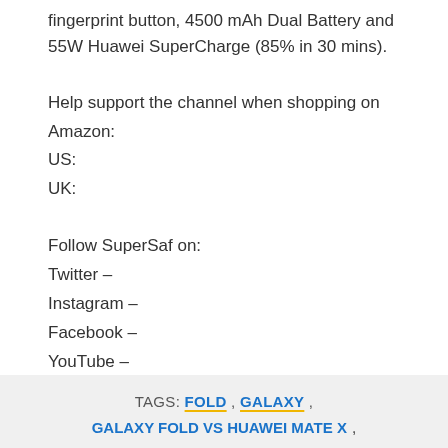fingerprint button, 4500 mAh Dual Battery and 55W Huawei SuperCharge (85% in 30 mins).
Help support the channel when shopping on Amazon:
US:
UK:
Follow SuperSaf on:
Twitter –
Instagram –
Facebook –
YouTube –
Official Website:
TAGS: FOLD , GALAXY , GALAXY FOLD VS HUAWEI MATE X ,